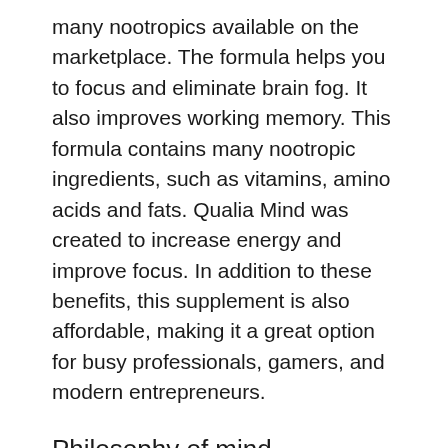many nootropics available on the marketplace. The formula helps you to focus and eliminate brain fog. It also improves working memory. This formula contains many nootropic ingredients, such as vitamins, amino acids and fats. Qualia Mind was created to increase energy and improve focus. In addition to these benefits, this supplement is also affordable, making it a great option for busy professionals, gamers, and modern entrepreneurs.
Philosophy of mind
The philosophical debate about the existence of qualia and consciousness is a complex one. While some philosophers hold the idea of qualia, others deny it. Qualia is defined based on neurophysiological and philosophical